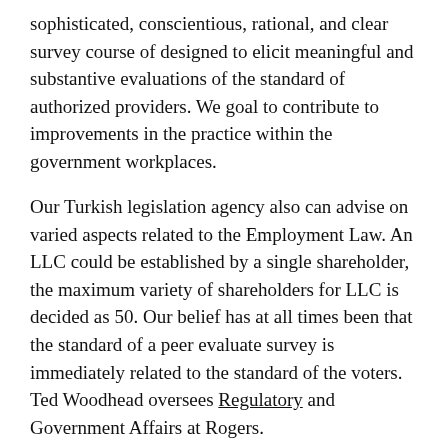sophisticated, conscientious, rational, and clear survey course of designed to elicit meaningful and substantive evaluations of the standard of authorized providers. We goal to contribute to improvements in the practice within the government workplaces.
Our Turkish legislation agency also can advise on varied aspects related to the Employment Law. An LLC could be established by a single shareholder, the maximum variety of shareholders for LLC is decided as 50. Our belief has at all times been that the standard of a peer evaluate survey is immediately related to the standard of the voters. Ted Woodhead oversees Regulatory and Government Affairs at Rogers.
The shareholders' legal responsibility is proscribed to their funding in shares. We offer support from the motion of the opening of a share capital account to the Notary